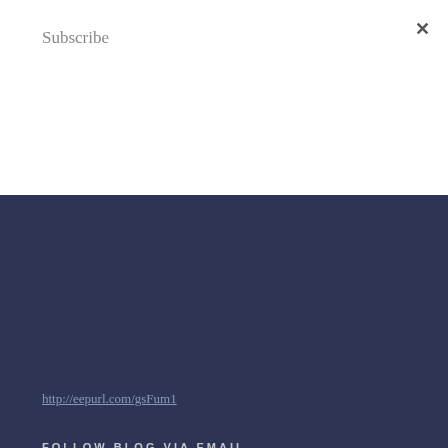Subscribe
Subscribe
http://eepurl.com/gsFum1
FOLLOW BLOG VIA EMAIL
Enter your email address to follow this blog and receive notifications of new posts by email.
Email Address
Follow